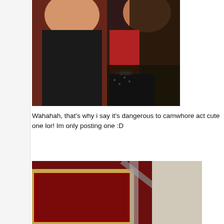[Figure (photo): Two young women wearing black clothing standing against a red background. One has short hair and the other has long dark hair.]
Wahahah, that's why i say it's dangerous to camwhore act cute one lor! Im only posting one :D
[Figure (photo): Interior scene with red carpet/wall and a framed mirror or picture with a gold frame, showing a room or venue interior.]